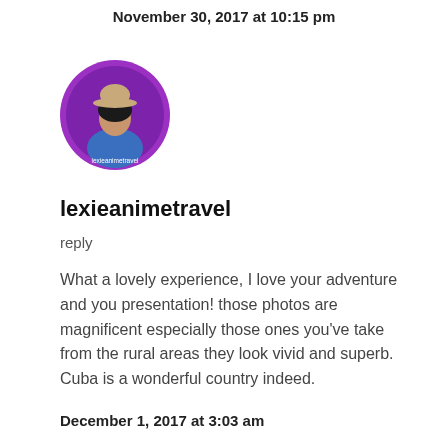November 30, 2017 at 10:15 pm
[Figure (photo): Circular profile photo of a woman wearing a beige hat and blue jacket, with a purple background circle border and small text 'lexieanimetravel' at the bottom]
lexieanimetravel
reply
What a lovely experience, I love your adventure and you presentation! those photos are magnificent especially those ones you've take from the rural areas they look vivid and superb. Cuba is a wonderful country indeed.
December 1, 2017 at 3:03 am